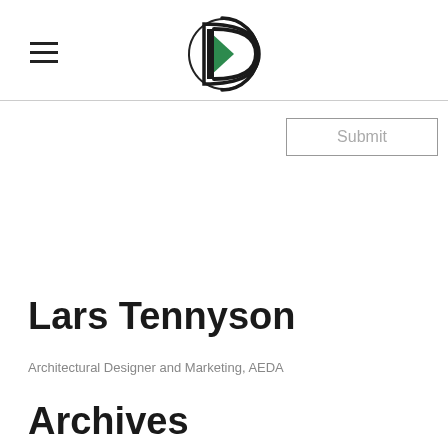[Figure (logo): Circular D logo with green and dark triangular interior shape on white background, positioned centered in header]
≡  [Logo]  Submit
Lars Tennyson
Architectural Designer and Marketing, AEDA
Archives